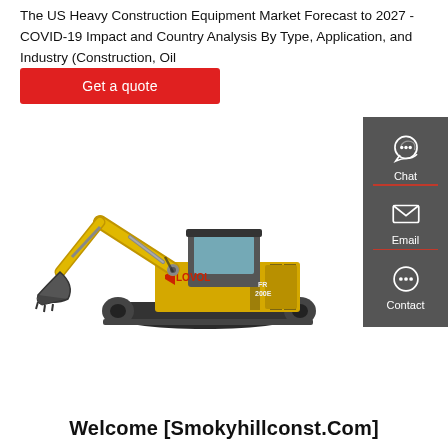The US Heavy Construction Equipment Market Forecast to 2027 - COVID-19 Impact and Country Analysis By Type, Application, and Industry (Construction, Oil
Get a quote
[Figure (photo): Yellow LOVOL FR 200E excavator / crawler construction machine on white background]
[Figure (infographic): Sidebar with Chat, Email, and Contact icons on dark grey background]
Welcome [Smokyhillconst.Com]